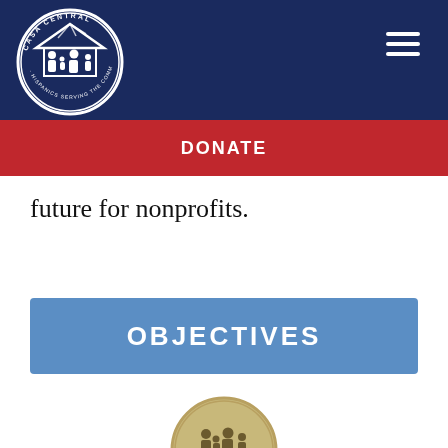[Figure (logo): Casa Central circular logo with family silhouette, 'CASA CENTRAL' text arc at top and 'HISPANICS SERVING THE COMMUNITY' text arc at bottom, on dark navy background]
[Figure (other): Hamburger menu icon (three horizontal white lines) in top right of navy header]
DONATE
future for nonprofits.
OBJECTIVES
[Figure (logo): Partial Casa Central circular logo visible at bottom of page, cut off]